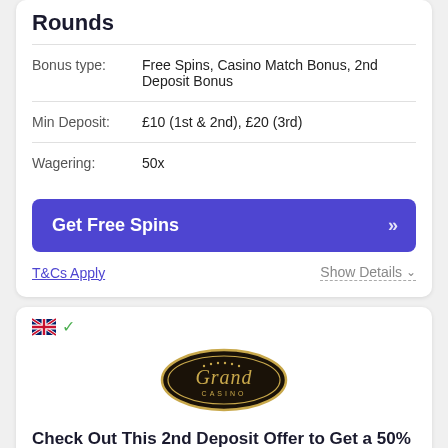Rounds
| Bonus type: | Free Spins, Casino Match Bonus, 2nd Deposit Bonus |
| Min Deposit: | £10 (1st & 2nd), £20 (3rd) |
| Wagering: | 50x |
Get Free Spins
T&Cs Apply
Show Details
[Figure (logo): UK flag icon with green checkmark]
[Figure (logo): Grand Casino oval logo with gold border on black background with script text]
Check Out This 2nd Deposit Offer to Get a 50% Bonus of Your Funds